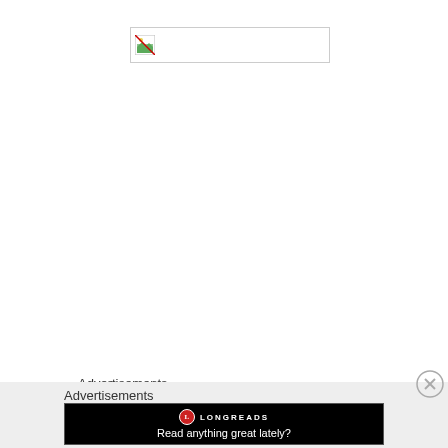[Figure (other): Broken image placeholder with border and broken image icon in top area of page]
Advertisements
[Figure (other): Blue horizontal bar below Advertisements label]
Advertisements
[Figure (other): Longreads advertisement banner on black background with logo and tagline: Read anything great lately?]